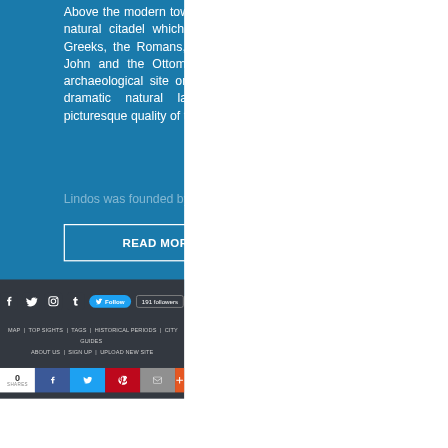Above the modern town of rises the acropolis of Lindos, a natural citadel which was fortified successively by the Greeks, the Romans, the Byzantines, the Knights of St John and the Ottomans. This is the most impressive archaeological site on the island of Rhodes, where the dramatic natural landscape is enhanced by the picturesque quality of the more modern town.
Lindos was founded by the Dorians led by the
READ MORE
[Figure (other): Social media icons: Facebook, Twitter, Instagram, Tumblr; Twitter Follow button; 191 followers badge]
MAP | TOP SIGHTS | TAGS | HISTORICAL PERIODS | CITY GUIDES | ABOUT US | SIGN UP | UPLOAD NEW SITE
0 SHARES | Facebook share | Twitter share | Pinterest share | Email share | More